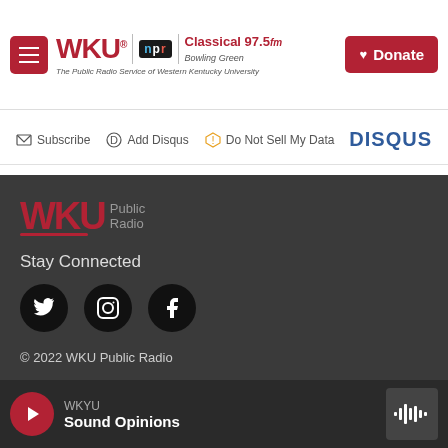WKU | npr | Classical 97.5 fm Bowling Green — The Public Radio Service of Western Kentucky University — Donate
Subscribe  Add Disqus  Do Not Sell My Data   DISQUS
[Figure (logo): WKU Public Radio logo in red and gray on dark background]
Stay Connected
[Figure (illustration): Social media icons: Twitter, Instagram, Facebook — black circles on dark background]
© 2022 WKU Public Radio
WKYU Public File
WKYU  Sound Opinions